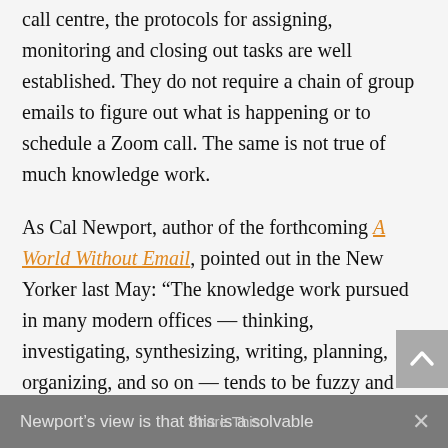call centre, the protocols for assigning, monitoring and closing out tasks are well established. They do not require a chain of group emails to figure out what is happening or to schedule a Zoom call. The same is not true of much knowledge work.
As Cal Newport, author of the forthcoming A World Without Email, pointed out in the New Yorker last May: “The knowledge work pursued in many modern offices — thinking, investigating, synthesizing, writing, planning, organizing, and so on — tends to be fuzzy and disorganized compared to the structured processes of, say, industrial manufacturing.”
Newport’s view is that this is a solvable